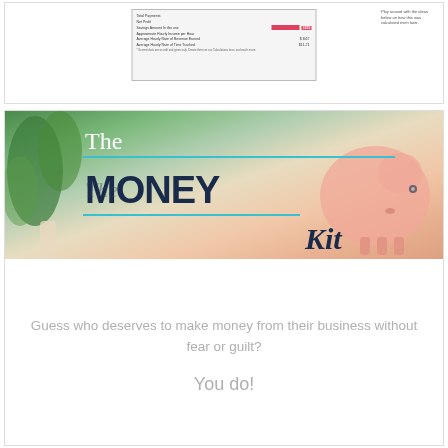[Figure (screenshot): Screenshot of a financial spreadsheet showing rows with labels like Total Payments, Net Profit, Savings Amount, Approximate Hourly Income per Hour, Average Hourly Rate of Revenue Earned, Average Hourly Rate of Time Tracked, with a pink/red highlighted bar and numerical values. A side note reads 'Play around with the ideas below on how this was calculated even later.']
[Figure (illustration): The Money Kit banner image with blurred background showing green plants on the left and a pink piggy bank on the right. Text overlay reads 'The MONEY Kit' with teal horizontal lines.]
Guess who deserves to make money from their business without fear or guilt?
You do!